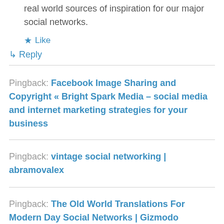real world sources of inspiration for our major social networks.
★ Like
↳ Reply
Pingback: Facebook Image Sharing and Copyright « Bright Spark Media – social media and internet marketing strategies for your business
Pingback: vintage social networking | abramovalex
Pingback: The Old World Translations For Modern Day Social Networks | Gizmodo Australia
Pingback: T...